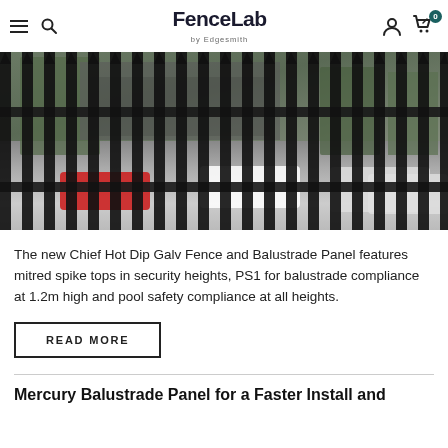FenceLab by Edgesmith
[Figure (photo): Photo of a black steel fence with mitred spike tops with cars parked in background and green trees visible]
The new Chief Hot Dip Galv Fence and Balustrade Panel features mitred spike tops in security heights, PS1 for balustrade compliance at 1.2m high and pool safety compliance at all heights.
READ MORE
Mercury Balustrade Panel for a Faster Install and